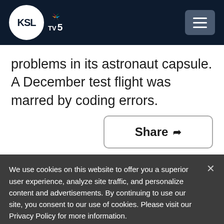KSL TV 5
problems in its astronaut capsule. A December test flight was marred by coding errors.
Share
We use cookies on this website to offer you a superior user experience, analyze site traffic, and personalize content and advertisements. By continuing to use our site, you consent to our use of cookies. Please visit our Privacy Policy for more information.
Accept Cookies